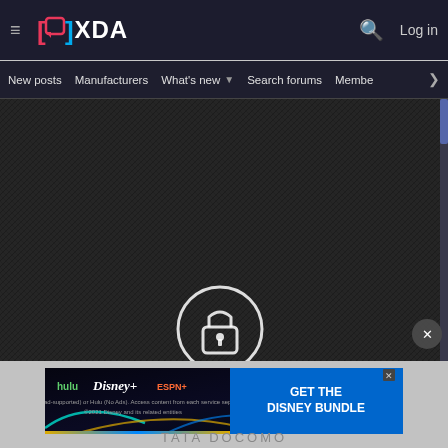[Figure (screenshot): XDA Developers website header with logo, hamburger menu, search icon, and Log in button on dark background]
≡  XDA  Search  Log in
New posts   Manufacturers   What's new ▾   Search forums   Membe   >
[Figure (photo): Dark textured background with diamond/crosshatch pattern, and a white circle lock icon at the bottom center]
[Figure (screenshot): Disney Bundle advertisement banner showing Hulu, Disney+, ESPN+ logos with 'GET THE DISNEY BUNDLE' call to action in blue]
Incl. Hulu (ad-supported) or Hulu (No Ads). Access content from each service separately. ©2021 Disney and its related entities
TATA DOCOMO